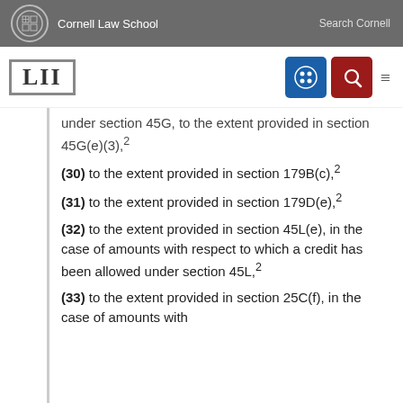Cornell Law School  Search Cornell
under section 45G, to the extent provided in section 45G(e)(3),2
(30) to the extent provided in section 179B(c),2
(31) to the extent provided in section 179D(e),2
(32) to the extent provided in section 45L(e), in the case of amounts with respect to which a credit has been allowed under section 45L,2
(33) to the extent provided in section 25C(f), in the case of amounts with